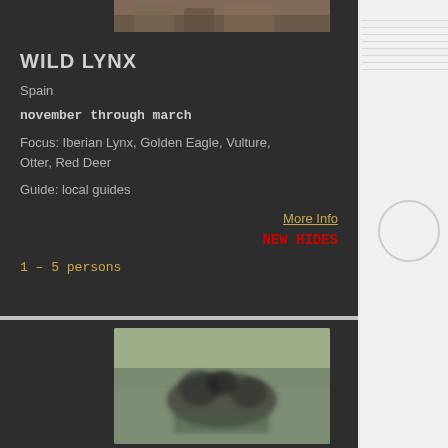[Figure (photo): Partial view of a wild lynx animal photo at top of card, cropped]
WILD LYNX
Spain
november through march
Focus: Iberian Lynx, Golden Eagle, Vulture, Otter, Red Deer
Guide: local guides
More Info
NEW HIDES
1 – 5 persons
[Figure (photo): Blurred photo of a small animal (possibly a koala or similar) on a green background, partially visible at bottom of page]